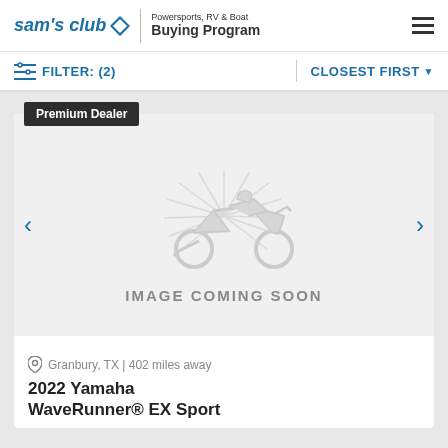sam's club ◇ | Powersports, RV & Boat Buying Program
FILTER: (2)   CLOSEST FIRST
[Figure (illustration): Motorcycle silhouette placeholder image with radial lines suggesting motion, gray color. Text below reads: IMAGE COMING SOON]
Premium Dealer
Granbury, TX | 402 miles away
2022 Yamaha
WaveRunner® EX Sport